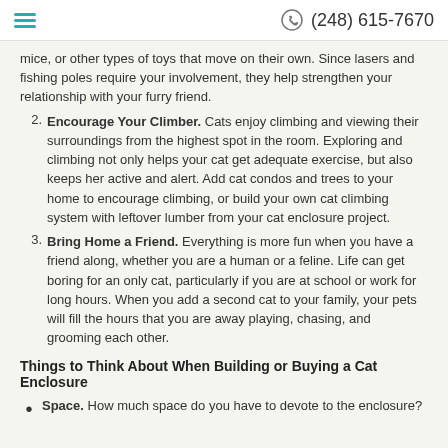(248) 615-7670
mice, or other types of toys that move on their own. Since lasers and fishing poles require your involvement, they help strengthen your relationship with your furry friend.
Encourage Your Climber. Cats enjoy climbing and viewing their surroundings from the highest spot in the room. Exploring and climbing not only helps your cat get adequate exercise, but also keeps her active and alert. Add cat condos and trees to your home to encourage climbing, or build your own cat climbing system with leftover lumber from your cat enclosure project.
Bring Home a Friend. Everything is more fun when you have a friend along, whether you are a human or a feline. Life can get boring for an only cat, particularly if you are at school or work for long hours. When you add a second cat to your family, your pets will fill the hours that you are away playing, chasing, and grooming each other.
Things to Think About When Building or Buying a Cat Enclosure
Space. How much space do you have to devote to the enclosure?